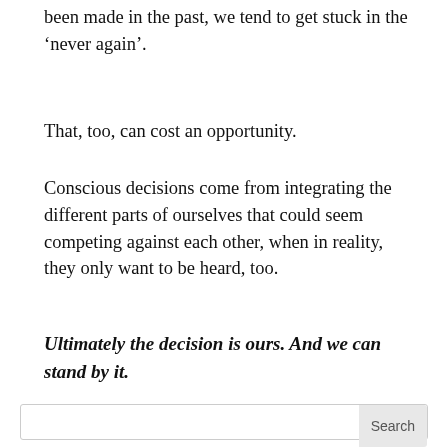been made in the past, we tend to get stuck in the ‘never again’.
That, too, can cost an opportunity.
Conscious decisions come from integrating the different parts of ourselves that could seem competing against each other, when in reality, they only want to be heard, too.
Ultimately the decision is ours. And we can stand by it.